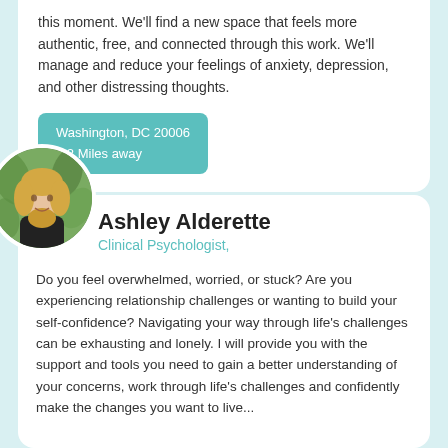this moment. We'll find a new space that feels more authentic, free, and connected through this work. We'll manage and reduce your feelings of anxiety, depression, and other distressing thoughts.
Washington, DC 20006
3.2 Miles away
[Figure (photo): Circular profile photo of Ashley Alderette, a blonde woman in a black top, with a green leafy background]
Ashley Alderette
Clinical Psychologist,
Do you feel overwhelmed, worried, or stuck? Are you experiencing relationship challenges or wanting to build your self-confidence? Navigating your way through life's challenges can be exhausting and lonely. I will provide you with the support and tools you need to gain a better understanding of your concerns, work through life's challenges and confidently make the changes you want to live...